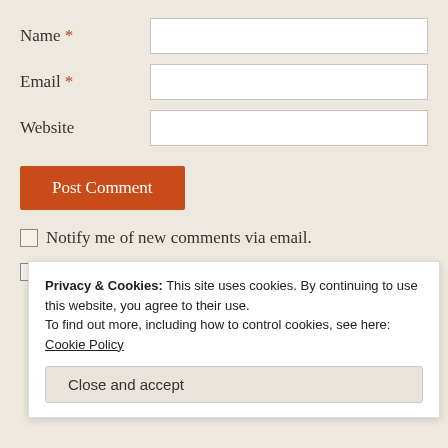Name *
Email *
Website
Post Comment
Notify me of new comments via email.
Notify me of new posts via email.
Privacy & Cookies: This site uses cookies. By continuing to use this website, you agree to their use. To find out more, including how to control cookies, see here: Cookie Policy
Close and accept